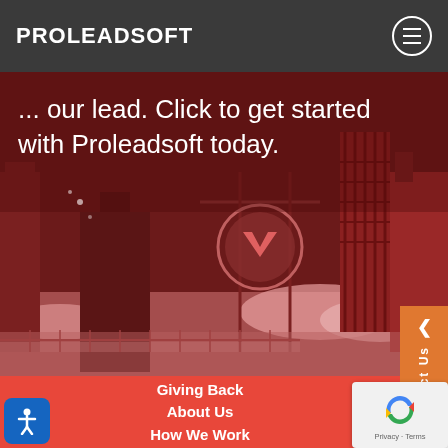PROLEADSOFT
[Figure (illustration): Website screenshot showing Proleadsoft homepage hero section with city skyline illustration in red/maroon tones, overlaid with text 'our lead. Click to get started with Proleadsoft today.']
our lead. Click to get started with Proleadsoft today.
Giving Back
About Us
How We Work
Our Team
Portfolio
Industries
Testimonials
Contact Us
Blogs